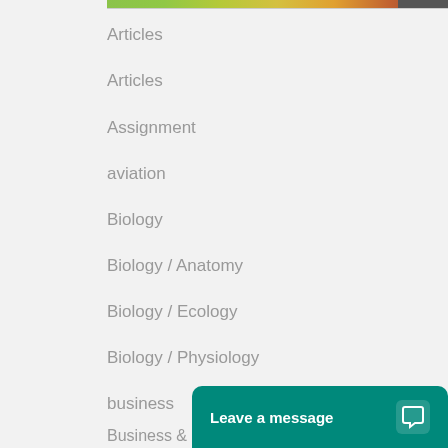[Figure (photo): Partial banner image at top with green gradient and colorful objects on right side]
Articles
Articles
Assignment
aviation
Biology
Biology / Anatomy
Biology / Ecology
Biology / Physiology
business
Business & Finance
Business &
Leave a message